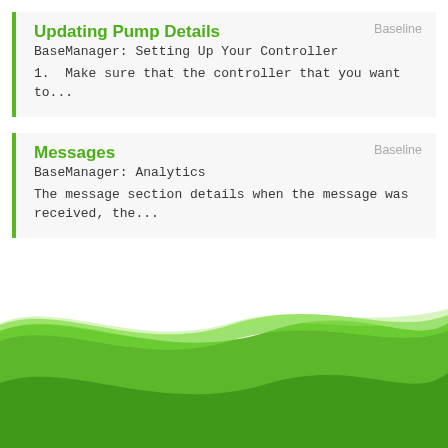Updating Pump Details
BaseManager: Setting Up Your Controller
1.  Make sure that the controller that you want to...
Messages
BaseManager: Analytics
The message section details when the message was received, the...
[Figure (illustration): Decorative green wave / swoosh graphic at the bottom of the page]